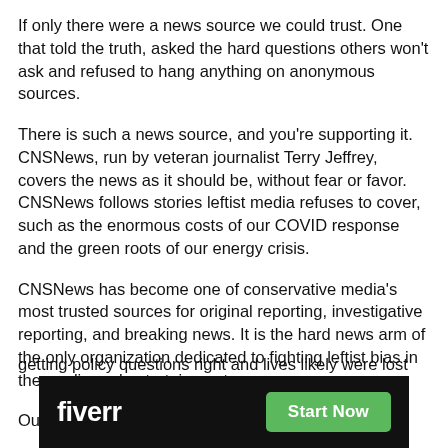If only there were a news source we could trust. One that told the truth, asked the hard questions others won't ask and refused to hang anything on anonymous sources.
There is such a news source, and you're supporting it. CNSNews, run by veteran journalist Terry Jeffrey, covers the news as it should be, without fear or favor. CNSNews follows stories leftist media refuses to cover, such as the enormous costs of our COVID response and the green roots of our energy crisis.
CNSNews has become one of conservative media's most trusted sources for original reporting, investigative reporting, and breaking news. It is the hard news arm of the only organization dedicated to fighting leftist bias in the media and entertainment areas.
[Figure (other): Fiverr advertisement banner: black background with 'fiverr' logo in white bold text on the left and a green 'Start Now' button on the right.]
Our m getting policy questions right and lives likely were lost